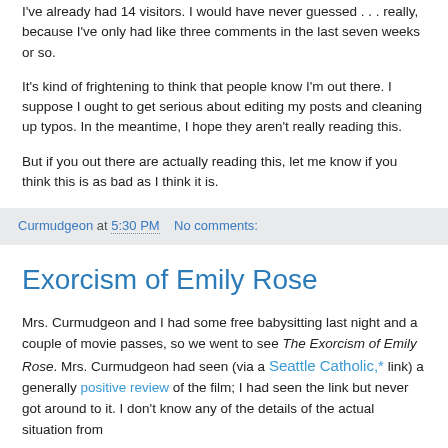I've already had 14 visitors. I would have never guessed . . . really, because I've only had like three comments in the last seven weeks or so.
It's kind of frightening to think that people know I'm out there. I suppose I ought to get serious about editing my posts and cleaning up typos. In the meantime, I hope they aren't really reading this.
But if you out there are actually reading this, let me know if you think this is as bad as I think it is.
Curmudgeon at 5:30 PM   No comments:
Exorcism of Emily Rose
Mrs. Curmudgeon and I had some free babysitting last night and a couple of movie passes, so we went to see The Exorcism of Emily Rose. Mrs. Curmudgeon had seen (via a Seattle Catholic,* link) a generally positive review of the film; I had seen the link but never got around to it. I don't know any of the details of the actual situation from